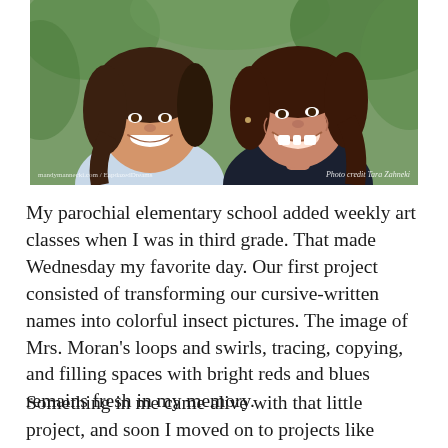[Figure (photo): Two smiling women posing close together outdoors with green foliage in background. Watermark text: mandymannecki.com / EapdazedDreams / Photo credit Tara Zahneki]
My parochial elementary school added weekly art classes when I was in third grade. That made Wednesday my favorite day. Our first project consisted of transforming our cursive-written names into colorful insect pictures. The image of Mrs. Moran's loops and swirls, tracing, copying, and filling spaces with bright reds and blues remains fresh in my memory.
Something in me came alive with that little project, and soon I moved on to projects like copying pictures from my